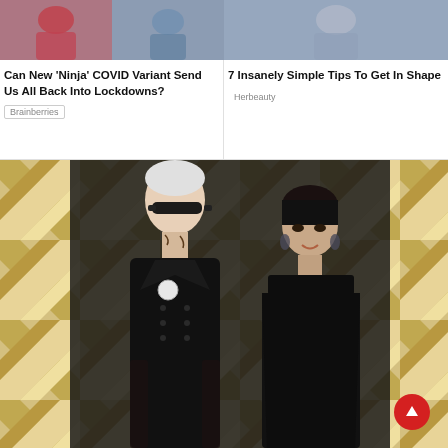[Figure (photo): Thumbnail image for article about COVID Ninja variant]
Can New ‘Ninja’ COVID Variant Send Us All Back Into Lockdowns?
Brainberries
[Figure (photo): Thumbnail image for article about getting in shape]
7 Insanely Simple Tips To Get In Shape
Herbeauty
[Figure (photo): Photo of two people dressed in black at the Oscars red carpet with gold chevron backdrop. Man on left is heavily tattooed with white hair and dark sunglasses in a black double-breasted suit. Woman on right has dark hair pulled back and wears a black strapless dress. A red scroll-up button is visible in the lower right corner.]